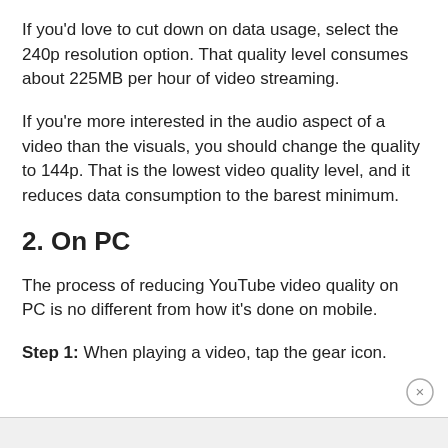If you'd love to cut down on data usage, select the 240p resolution option. That quality level consumes about 225MB per hour of video streaming.
If you're more interested in the audio aspect of a video than the visuals, you should change the quality to 144p. That is the lowest video quality level, and it reduces data consumption to the barest minimum.
2. On PC
The process of reducing YouTube video quality on PC is no different from how it's done on mobile.
Step 1: When playing a video, tap the gear icon.